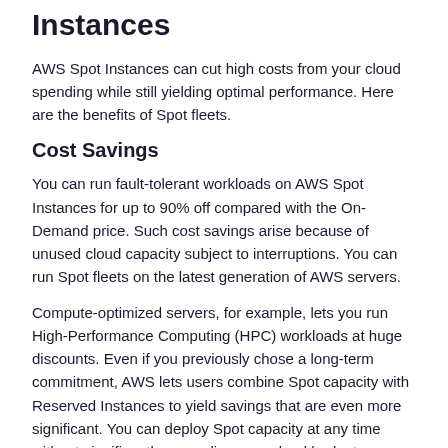Instances
AWS Spot Instances can cut high costs from your cloud spending while still yielding optimal performance. Here are the benefits of Spot fleets.
Cost Savings
You can run fault-tolerant workloads on AWS Spot Instances for up to 90% off compared with the On-Demand price. Such cost savings arise because of unused cloud capacity subject to interruptions. You can run Spot fleets on the latest generation of AWS servers.
Compute-optimized servers, for example, lets you run High-Performance Computing (HPC) workloads at huge discounts. Even if you previously chose a long-term commitment, AWS lets users combine Spot capacity with Reserved Instances to yield savings that are even more significant. You can deploy Spot capacity at any time without significantly exceeding your cloud budget.
Auto-Scale
Autoscaling features help allocate the correct quantity of resources